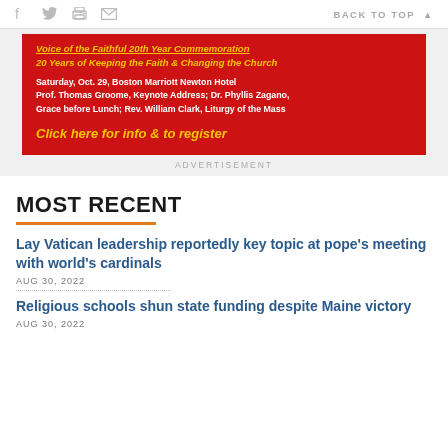f  [twitter]  [print]  [mail]    BACK TO TOP ▲
[Figure (infographic): Red advertisement banner for Voice of the Faithful 20th Year Commemoration. Title in yellow underlined: 'Voice of the Faithful 20th Year Commemoration'. Subtitle in yellow italic: '20 Years of Keeping the Faith & Changing the Church'. Body text in white bold: 'Saturday, Oct. 29, Boston Marriott Newton Hotel Prof. Thomas Groome, Keynote Address; Dr. Phyllis Zagano, Grace before Lunch; Rev. William Clark, Liturgy of the Mass'. CTA in yellow italic: 'Click here for info & to register']
ADVERTISEMENT
MOST RECENT
Lay Vatican leadership reportedly key topic at pope's meeting with world's cardinals
AUG 30, 2022
Religious schools shun state funding despite Maine victory
AUG 30, 2022